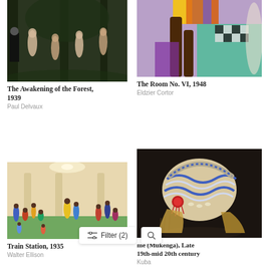[Figure (illustration): Painting: The Awakening of the Forest, 1939 by Paul Delvaux — nude figures among dark forest trees]
The Awakening of the Forest, 1939
Paul Delvaux
[Figure (illustration): Painting: The Room No. VI, 1948 by Eldzier Cortor — colorful figurative painting with checkerboard patterns]
The Room No. VI, 1948
Eldzier Cortor
[Figure (illustration): Painting: Train Station, 1935 by Walter Ellison — colorful scene of people in a train station]
Train Station, 1935
Walter Ellison
[Figure (photo): Photo of a ceremonial mask/headdress (Mukenga), Late 19th-mid 20th century by Kuba — beaded and feathered African mask on dark background]
me (Mukenga), Late 19th-mid 20th century
Kuba